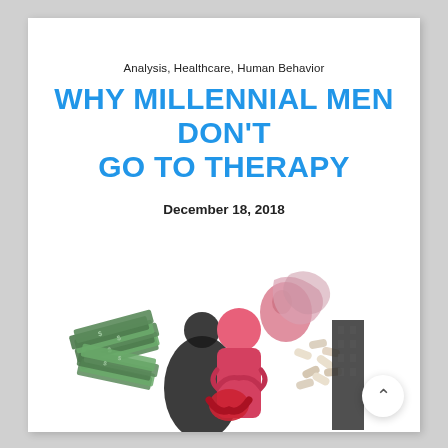Analysis, Healthcare, Human Behavior
WHY MILLENNIAL MEN DON'T GO TO THERAPY
December 18, 2018
[Figure (illustration): Collage illustration featuring stacks of dollar bills, a black silhouette figure, a pink human statue/figure with arms crossed, scattered pills, and a dark building structure — representing financial, emotional, and systemic barriers to mental healthcare.]